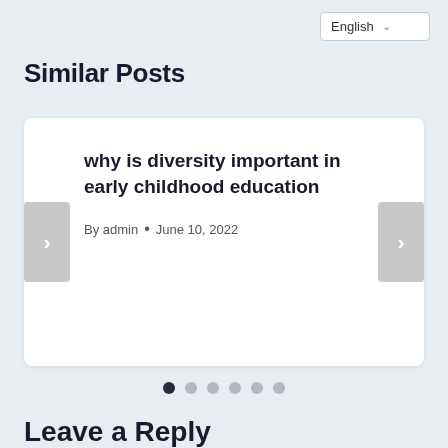[Figure (screenshot): Language selector dropdown showing 'English' with a chevron arrow on the top right]
Similar Posts
[Figure (screenshot): Carousel card showing a blog post titled 'why is diversity important in early childhood education' by admin, dated June 10, 2022, with left and right navigation arrows and six pagination dots below]
Leave a Reply